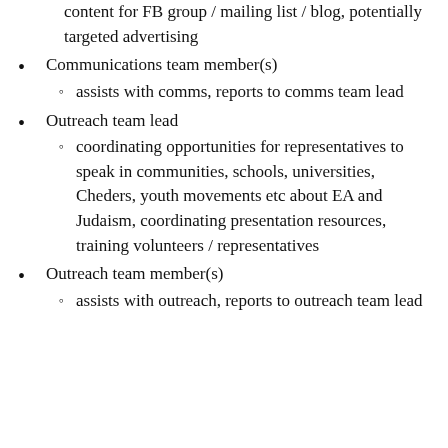content for FB group / mailing list / blog, potentially targeted advertising
Communications team member(s)
assists with comms, reports to comms team lead
Outreach team lead
coordinating opportunities for representatives to speak in communities, schools, universities, Cheders, youth movements etc about EA and Judaism, coordinating presentation resources, training volunteers / representatives
Outreach team member(s)
assists with outreach, reports to outreach team lead